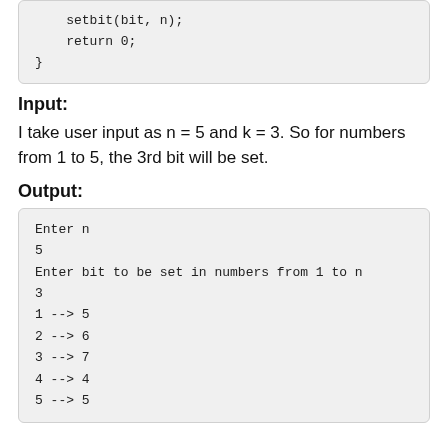setbit(bit, n);
    return 0;
}
Input:
I take user input as n = 5 and k = 3. So for numbers from 1 to 5, the 3rd bit will be set.
Output:
Enter n
5
Enter bit to be set in numbers from 1 to n
3
1 --> 5
2 --> 6
3 --> 7
4 --> 4
5 --> 5